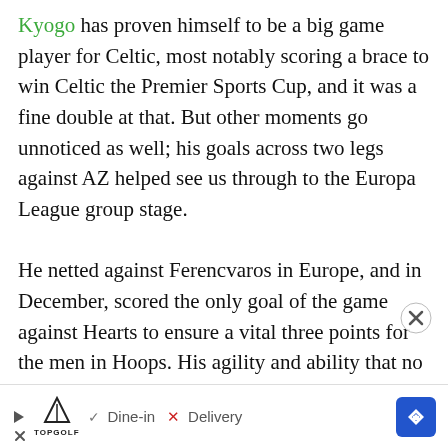Kyogo has proven himself to be a big game player for Celtic, most notably scoring a brace to win Celtic the Premier Sports Cup, and it was a fine double at that. But other moments go unnoticed as well; his goals across two legs against AZ helped see us through to the Europa League group stage.

He netted against Ferencvaros in Europe, and in December, scored the only goal of the game against Hearts to ensure a vital three points for the men in Hoops. His agility and ability that no one else can make h opposing defenders to deal w featured twice against Range performances.
[Figure (screenshot): A video player thumbnail showing a football/soccer training session on a green pitch with players visible, overlaying part of the article text. A play button (triangle) is centered on the thumbnail. A close button (circle with X) appears in the top-right corner of the video.]
[Figure (infographic): An advertisement bar at the bottom showing TopGolf logo with a play icon and X icon, checkmark with 'Dine-in', X with 'Delivery', and a blue diamond-shaped navigation arrow icon.]